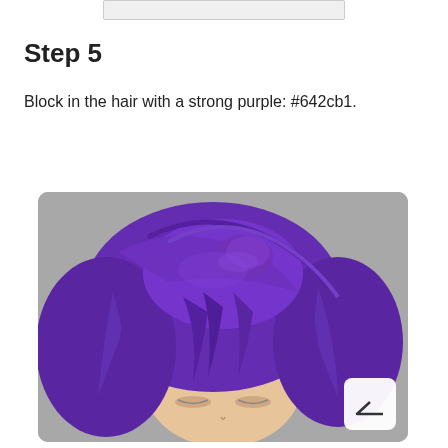[Figure (screenshot): Partial cropped image of a digital art tool interface at the top of the page]
Step 5
Block in the hair with a strong purple: #642cb1.
[Figure (illustration): Digital illustration of an anime-style character with vivid purple hair covering most of their face, shown against a gray background. The hair is painted in a strong purple color #642cb1.]